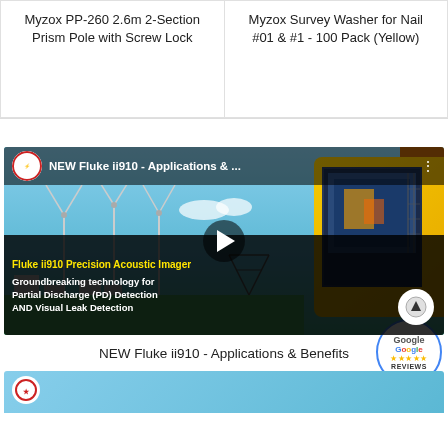Myzox PP-260 2.6m 2-Section Prism Pole with Screw Lock
Myzox Survey Washer for Nail #01 & #1 - 100 Pack (Yellow)
[Figure (screenshot): Video thumbnail for 'NEW Fluke ii910 - Applications & ...' showing the Fluke ii910 Precision Acoustic Imager device with text about Groundbreaking technology for Partial Discharge (PD) Detection AND Visual Leak Detection, with a play button in the center and wind turbines in background]
NEW Fluke ii910 - Applications & Benefits
[Figure (screenshot): Partial view of another video thumbnail at the bottom of the page]